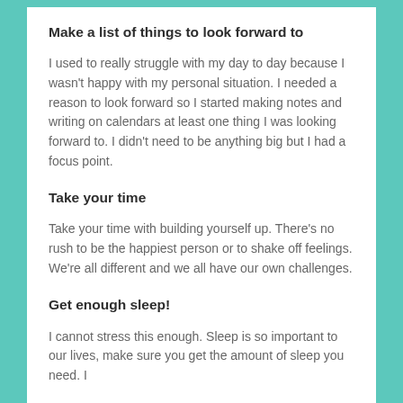Make a list of things to look forward to
I used to really struggle with my day to day because I wasn't happy with my personal situation. I needed a reason to look forward so I started making notes and writing on calendars at least one thing I was looking forward to. I didn't need to be anything big but I had a focus point.
Take your time
Take your time with building yourself up. There's no rush to be the happiest person or to shake off feelings. We're all different and we all have our own challenges.
Get enough sleep!
I cannot stress this enough. Sleep is so important to our lives, make sure you get the amount of sleep you need. I